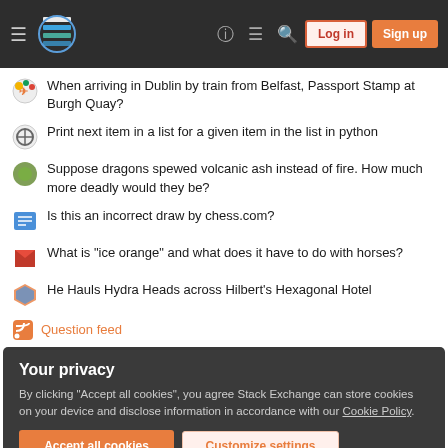Stack Exchange navigation bar with hamburger menu, logo, help, feedback, search icons, Log in and Sign up buttons
When arriving in Dublin by train from Belfast, Passport Stamp at Burgh Quay?
Print next item in a list for a given item in the list in python
Suppose dragons spewed volcanic ash instead of fire. How much more deadly would they be?
Is this an incorrect draw by chess.com?
What is "ice orange" and what does it have to do with horses?
He Hauls Hydra Heads across Hilbert's Hexagonal Hotel
Question feed
Your privacy
By clicking "Accept all cookies", you agree Stack Exchange can store cookies on your device and disclose information in accordance with our Cookie Policy.
Accept all cookies | Customize settings